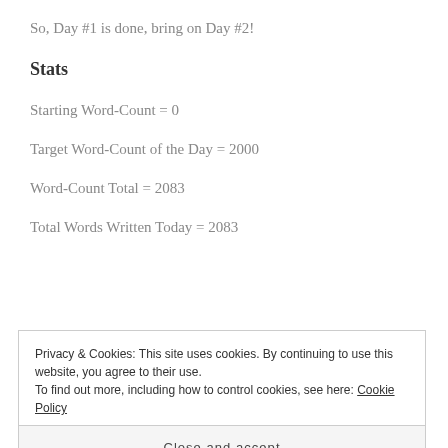So, Day #1 is done, bring on Day #2!
Stats
Starting Word-Count = 0
Target Word-Count of the Day = 2000
Word-Count Total = 2083
Total Words Written Today = 2083
Privacy & Cookies: This site uses cookies. By continuing to use this website, you agree to their use.
To find out more, including how to control cookies, see here: Cookie Policy
Close and accept
APRIL 1, 2015